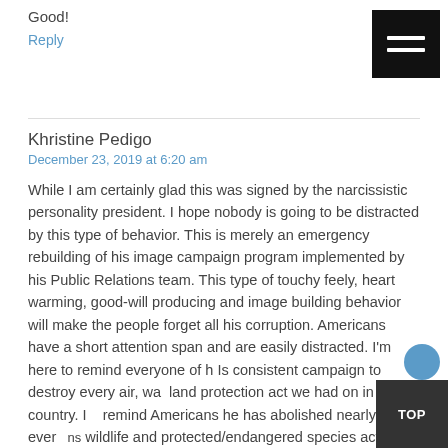Good!
Reply
Khristine Pedigo
December 23, 2019 at 6:20 am
While I am certainly glad this was signed by the narcissistic personality president. I hope nobody is going to be distracted by this type of behavior. This is merely an emergency rebuilding of his image campaign program implemented by his Public Relations team. This type of touchy feely, heart warming, good-will producing and image building behavior will make the people forget all his corruption. Americans have a short attention span and are easily distracted. I'm here to remind everyone of h Is consistent campaign to destroy every air, wa... land protection act we had on in this country. I... remind Americans he has abolished nearly ever... wildlife and protected/endangered species act. Trump